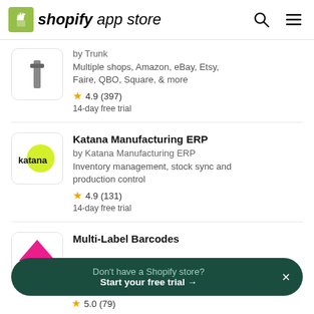shopify app store
by Trunk
Multiple shops, Amazon, eBay, Etsy, Faire, QBO, Square, & more
4.9 (397)
14-day free trial
Katana Manufacturing ERP
by Katana Manufacturing ERP
Inventory management, stock sync and production control
4.9 (131)
14-day free trial
Multi-Label Barcodes
5.0 (79)
Don't have a Shopify store? Start your free trial →